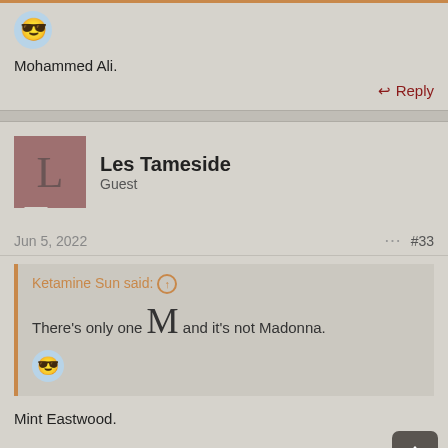[Figure (illustration): Cool face emoji avatar with sunglasses in a circle]
Mohammed Ali.
↩ Reply
[Figure (illustration): Square avatar placeholder with letter L on mauve/rose background]
Les Tameside
Guest
Jun 5, 2022
#33
Ketamine Sun said: ⊕
There's only one M and it's not Madonna.
[Figure (illustration): Cool face emoji avatar with sunglasses in a circle]
Mint Eastwood.
↩ Reply